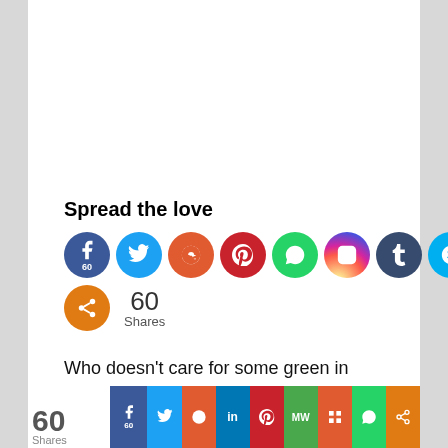Spread the love
[Figure (infographic): Row of social media share buttons: Facebook (60), Twitter, Reddit, Pinterest, WhatsApp, Instagram, Tumblr, Skype, Print. Second row: Share button and 60 Shares count.]
Who doesn't care for some green in their home? Be that as it may, with all the space crunch we confront nowadays, having our very own garden is very hard to accomplish. In any case, imagine a s...
60 Shares | Facebook | Twitter | Reddit | LinkedIn | Pinterest | MW | Mix | WhatsApp | Share